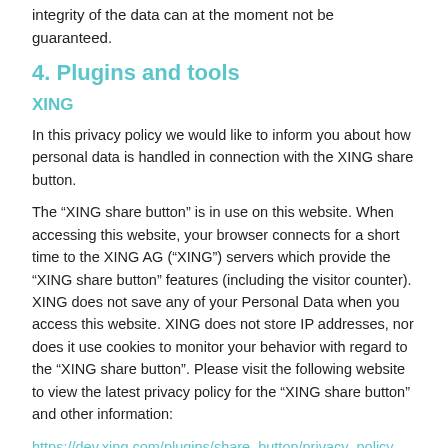integrity of the data can at the moment not be guaranteed.
4. Plugins and tools
XING
In this privacy policy we would like to inform you about how personal data is handled in connection with the XING share button.
The “XING share button” is in use on this website. When accessing this website, your browser connects for a short time to the XING AG (“XING”) servers which provide the “XING share button” features (including the visitor counter). XING does not save any of your Personal Data when you access this website. XING does not store IP addresses, nor does it use cookies to monitor your behavior with regard to the “XING share button”. Please visit the following website to view the latest privacy policy for the “XING share button” and other information:
https://dev.xing.com/plugins/share_button/privacy_policy
Google Web Fonts
For uniform representation of fonts, this page uses web fonts...